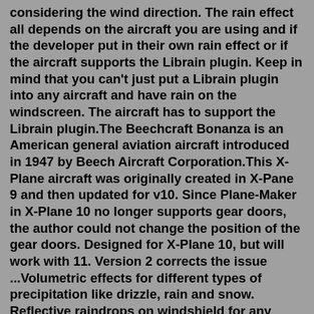considering the wind direction. The rain effect all depends on the aircraft you are using and if the developer put in their own rain effect or if the aircraft supports the Librain plugin. Keep in mind that you can't just put a Librain plugin into any aircraft and have rain on the windscreen. The aircraft has to support the Librain plugin.The Beechcraft Bonanza is an American general aviation aircraft introduced in 1947 by Beech Aircraft Corporation.This X-Plane aircraft was originally created in X-Pane 9 and then updated for v10. Since Plane-Maker in X-Plane 10 no longer supports gear doors, the author could not change the position of the gear doors. Designed for X-Plane 10, but will work with 11. Version 2 corrects the issue ...Volumetric effects for different types of precipitation like drizzle, rain and snow. Reflective raindrops on windshield for any aircraft with virtual cockpit. Realistic cloud passing visual effects. Visual effects of aircraft lighting in clouds (strobe lights, beacon lights, navigation lights, landing lights).Zibo 737 ...